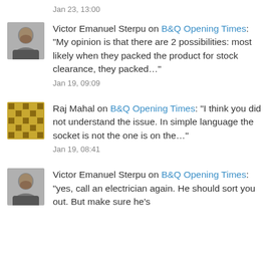Jan 23, 13:00
Victor Emanuel Sterpu on B&Q Opening Times: “My opinion is that there are 2 possibilities: most likely when they packed the product for stock clearance, they packed…”
Jan 19, 09:09
Raj Mahal on B&Q Opening Times: “I think you did not understand the issue. In simple language the socket is not the one is on the…”
Jan 19, 08:41
Victor Emanuel Sterpu on B&Q Opening Times: “yes, call an electrician again. He should sort you out. But make sure he’s